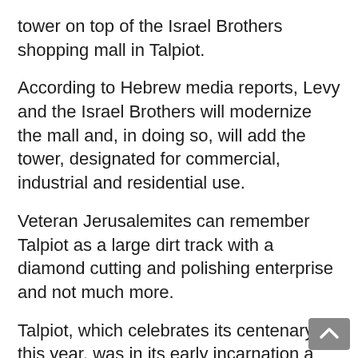tower on top of the Israel Brothers shopping mall in Talpiot.
According to Hebrew media reports, Levy and the Israel Brothers will modernize the mall and, in doing so, will add the tower, designated for commercial, industrial and residential use.
Veteran Jerusalemites can remember Talpiot as a large dirt track with a diamond cutting and polishing enterprise and not much more.
Talpiot, which celebrates its centenary this year, was in its early incarnation a garden suburb occupied by office executives and clerical personnel. It was briefly evacuated during the Hebron massacres of 1929, but residents later returned. The area was taken over by the Hagena when British Mandatory authorities left